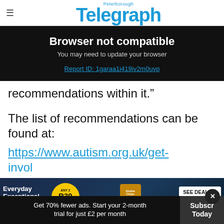Peterborough Telegraph
Browser not compatible
You may need to update your browser
Report ID: 1garaa1i419iv2m0uvp
recommendations within it.”
The list of recommendations can be found at:
https://www.autism.org.uk/get-invol... not-enou...
[Figure (other): Pick n Pay advertisement: Everyday Exceptional, Any 2 R39 Mix n Match, Simba Potato Chips Assorted 120g, SEE DEALS button]
Get 70% fewer ads. Start your 2-month trial for just £2 per month
Subscribe Today